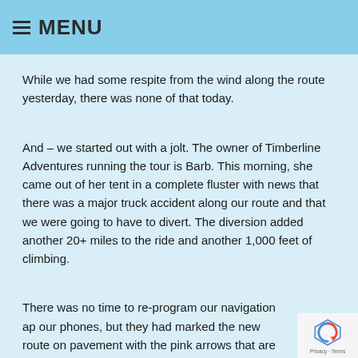MENU
While we had some respite from the wind along the route yesterday, there was none of that today.
And – we started out with a jolt. The owner of Timberline Adventures running the tour is Barb. This morning, she came out of her tent in a complete fluster with news that there was a major truck accident along our route and that we were going to have to divert. The diversion added another 20+ miles to the ride and another 1,000 feet of climbing.
There was no time to re-program our navigation ap our phones, but they had marked the new route on pavement with the pink arrows that are used to provide